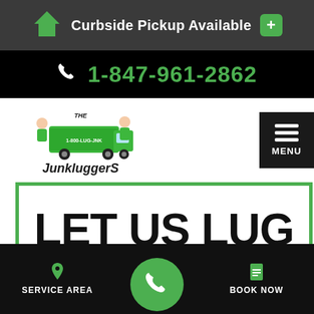Curbside Pickup Available
1-847-961-2862
[Figure (logo): The Junkluggers logo with cartoon characters and green truck]
MENU
LET US LUG
SERVICE AREA
BOOK NOW